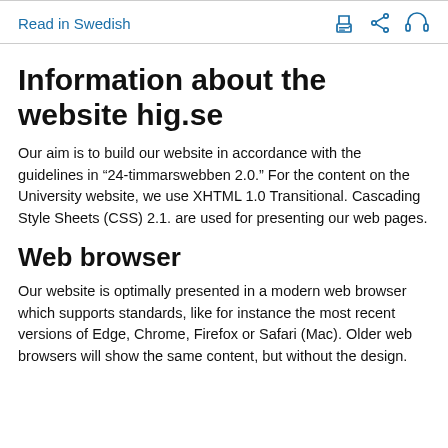Read in Swedish
Information about the website hig.se
Our aim is to build our website in accordance with the guidelines in “24-timmarswebben 2.0.” For the content on the University website, we use XHTML 1.0 Transitional. Cascading Style Sheets (CSS) 2.1. are used for presenting our web pages.
Web browser
Our website is optimally presented in a modern web browser which supports standards, like for instance the most recent versions of Edge, Chrome, Firefox or Safari (Mac). Older web browsers will show the same content, but without the design.